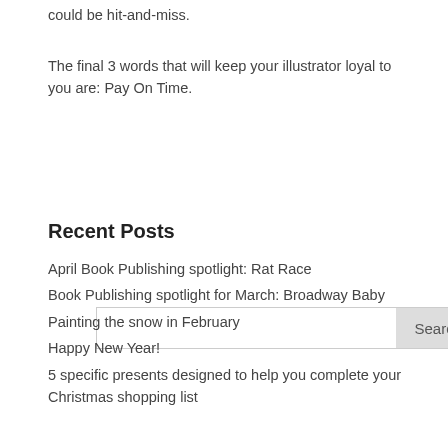could be hit-and-miss.
The final 3 words that will keep your illustrator loyal to you are: Pay On Time.
April Book Publishing spotlight: Rat Race
Book Publishing spotlight for March: Broadway Baby
Painting the snow in February
Happy New Year!
5 specific presents designed to help you complete your Christmas shopping list